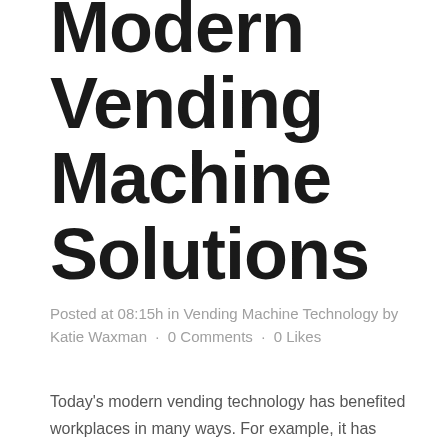Modern Vending Machine Solutions
Posted at 08:15h in Vending Machine Technology by Katie Waxman · 0 Comments · 0 Likes
Today's modern vending technology has benefited workplaces in many ways. For example, it has boosted productivity, engagement, and staff satisfaction. In fact